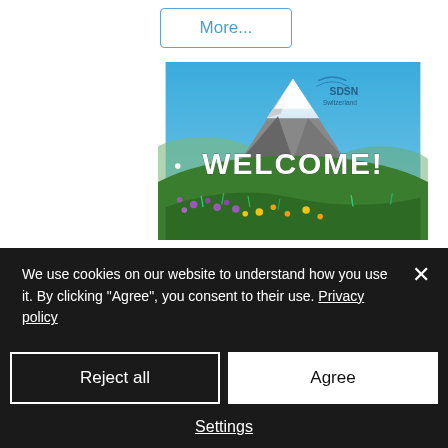More...
[Figure (photo): Alpine mountain landscape with Matterhorn peak, blue sky, purple and yellow wildflowers in foreground, with SDSN Switzerland logo overlay and WELCOME! text]
Welcoming our new Members
24.07.2019
We use cookies on our website to understand how you use it. By clicking "Agree", you consent to their use. Privacy policy
Reject all
Agree
Settings